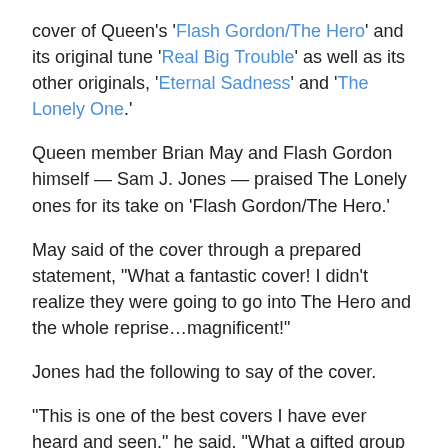cover of Queen's 'Flash Gordon/The Hero' and its original tune 'Real Big Trouble' as well as its other originals, 'Eternal Sadness' and 'The Lonely One.'
Queen member Brian May and Flash Gordon himself — Sam J. Jones — praised The Lonely ones for its take on 'Flash Gordon/The Hero.'
May said of the cover through a prepared statement, "What a fantastic cover! I didn't realize they were going to go into The Hero and the whole reprise…magnificent!"
Jones had the following to say of the cover.
"This is one of the best covers I have ever heard and seen," he said. "What a gifted group – The Lonely Ones are for everyone of us, from the 1980's to right now!"